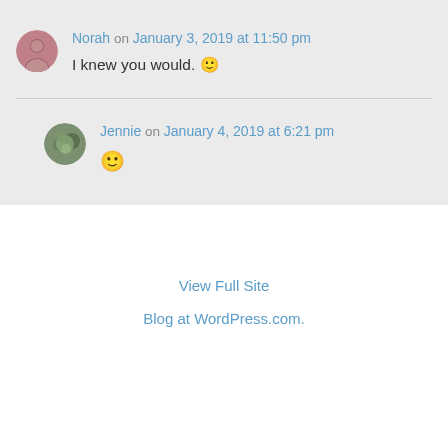Norah on January 3, 2019 at 11:50 pm
I knew you would. 🙂
Jennie on January 4, 2019 at 6:21 pm
🙂
View Full Site
Blog at WordPress.com.